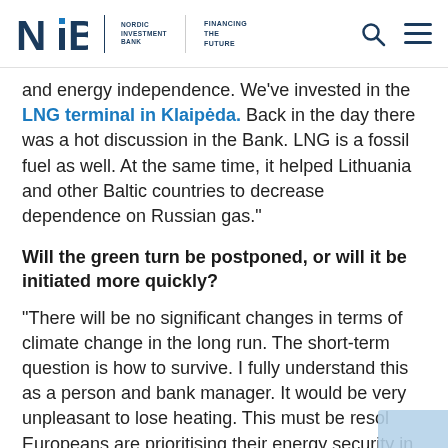NIB Nordic Investment Bank | Financing the Future
and energy independence. We've invested in the LNG terminal in Klaipėda. Back in the day there was a hot discussion in the Bank. LNG is a fossil fuel as well. At the same time, it helped Lithuania and other Baltic countries to decrease dependence on Russian gas."
Will the green turn be postponed, or will it be initiated more quickly?
"There will be no significant changes in terms of climate change in the long run. The short-term question is how to survive. I fully understand this as a person and bank manager. It would be very unpleasant to lose heating. This must be resol... Europeans are prioritising their energy security in the...